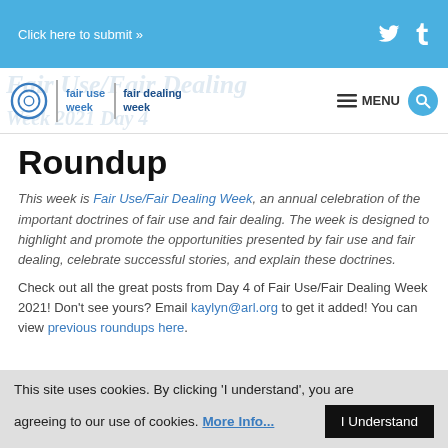Click here to submit »
[Figure (logo): Fair Use Week / Fair Dealing Week logo with spiral icon and navigation bar including MENU and search button]
Roundup
This week is Fair Use/Fair Dealing Week, an annual celebration of the important doctrines of fair use and fair dealing. The week is designed to highlight and promote the opportunities presented by fair use and fair dealing, celebrate successful stories, and explain these doctrines.
Check out all the great posts from Day 4 of Fair Use/Fair Dealing Week 2021! Don't see yours? Email kaylyn@arl.org to get it added! You can view previous roundups here.
This site uses cookies. By clicking 'I understand', you are agreeing to our use of cookies. More Info... I Understand